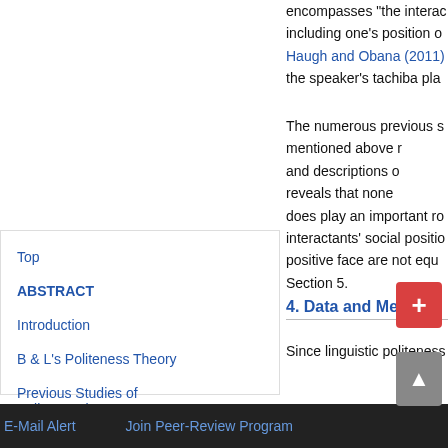encompasses “the interaction… including one’s position o… Haugh and Obana (2011)… the speaker’s tachiba pla…
The numerous previous s… mentioned above r… and descriptions o… reveals that none … does play an important ro… interactants’ social positio… positive face are not equ… Section 5.
Top
ABSTRACT
Introduction
B & L’s Politeness Theory
Previous Studies of Politeness in Japanese
Data and Methodology
4. Data and Metho…
Since linguistic politeness…
E-Mail Alert    Join Peer-Review Program